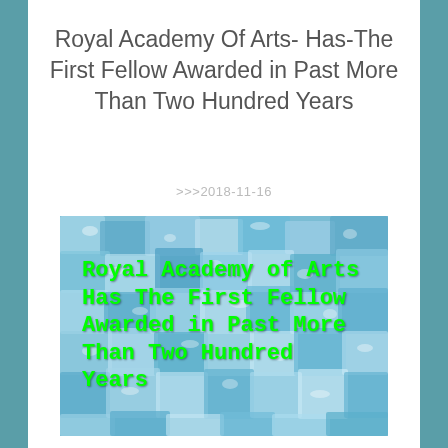Royal Academy Of Arts- Has-The First Fellow Awarded in Past More Than Two Hundred Years
>>>2018-11-16
[Figure (photo): Close-up photo of blue textured crystalline or fibrous material (resembling blue yarn or ice crystals), with overlaid bright green bold monospace text reading: Royal Academy of Arts Has The First Fellow Awarded in Past More Than Two Hundred Years]